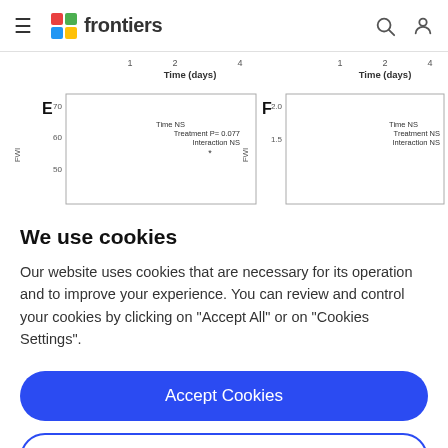frontiers
[Figure (continuous-plot): Partial view of two scientific line/bar charts labeled E and F. Chart E shows FWI on y-axis (50-70 range) with legend: Time NS, Treatment P=0.077, Interaction NS, asterisk. Chart F shows FWI on y-axis (1.5-2.0 range) with legend: Time NS, Treatment NS, Interaction NS. Both x-axes show Time (days) with ticks at 1, 2, 4.]
We use cookies
Our website uses cookies that are necessary for its operation and to improve your experience. You can review and control your cookies by clicking on "Accept All" or on "Cookies Settings".
Accept Cookies
Cookies Settings